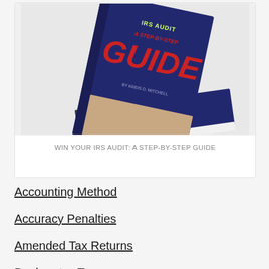[Figure (photo): Two copies of a book titled 'Win Your IRS Audit: A Step-By-Step Guide' by Kreis D. Mitchell. One copy is upright showing the dark navy cover with red and white text, slightly tilted. The other is lying flat beneath it.]
WIN YOUR IRS AUDIT: A STEP-BY-STEP GUIDE
Accounting Method
Accuracy Penalties
Amended Tax Returns
Bankruptcy Taxes